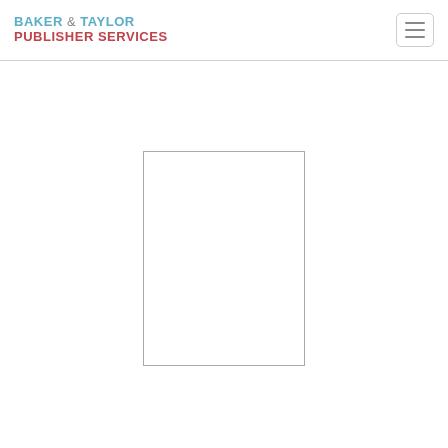BAKER & TAYLOR PUBLISHER SERVICES
[Figure (other): Empty book cover placeholder rectangle with thin border]